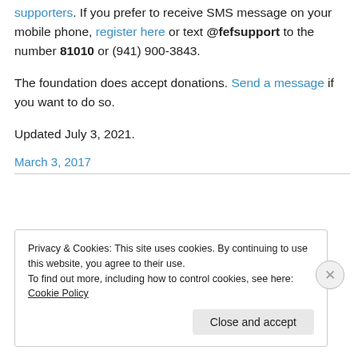supporters. If you prefer to receive SMS message on your mobile phone, register here or text @fefsupport to the number 81010 or (941) 900-3843.
The foundation does accept donations. Send a message if you want to do so.
Updated July 3, 2021.
March 3, 2017
Privacy & Cookies: This site uses cookies. By continuing to use this website, you agree to their use.
To find out more, including how to control cookies, see here: Cookie Policy